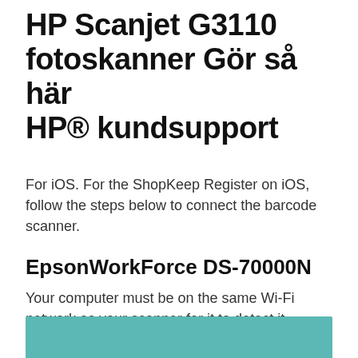HP Scanjet G3110 fotoskanner Gör så här HP® kundsupport
For iOS. For the ShopKeep Register on iOS, follow the steps below to connect the barcode scanner.
EpsonWorkForce DS-70000N
Your computer must be on the same Wi-Fi network as your scanner for it to detect it. Download your software to start printing. Make sure your printer is powered on.
[Figure (other): Teal/turquoise colored bar at the bottom of the page]